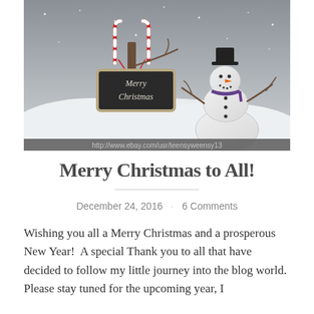[Figure (photo): Christmas scene photograph showing a snowman with a top hat and scarf on the right, a chalkboard sign reading 'Merry Christmas' hanging from a wooden post/candy cane on the left, white snow in the foreground, gray snowy background. Bottom of image has watermark text: http://www.ebay.com/usr/teensyweensy13]
Merry Christmas to All!
December 24, 2016 · 6 Comments
Wishing you all a Merry Christmas and a prosperous New Year!  A special Thank you to all that have decided to follow my little journey into the blog world. Please stay tuned for the upcoming year, I